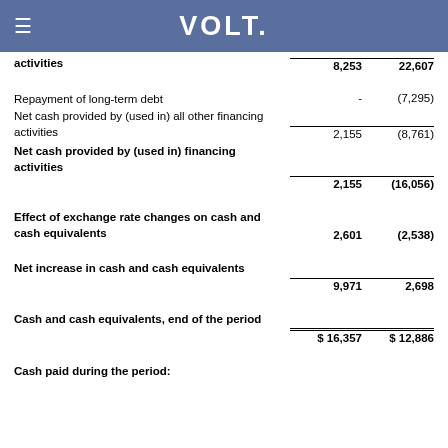VOLT
|  | Col1 | Col2 |
| --- | --- | --- |
| activities | 8,253 | 22,607 |
| Repayment of long-term debt | - | (7,295) |
| Net cash provided by (used in) all other financing activities | 2,155 | (8,761) |
| Net cash provided by (used in) financing activities | 2,155 | (16,056) |
| Effect of exchange rate changes on cash and cash equivalents | 2,601 | (2,538) |
| Net increase in cash and cash equivalents | 9,971 | 2,698 |
| Cash and cash equivalents, end of the period | $ 16,357 | $ 12,886 |
| Cash paid during the period: |  |  |